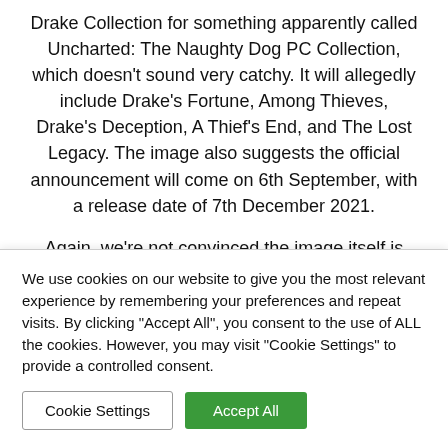Drake Collection for something apparently called Uncharted: The Naughty Dog PC Collection, which doesn't sound very catchy. It will allegedly include Drake's Fortune, Among Thieves, Drake's Deception, A Thief's End, and The Lost Legacy. The image also suggests the official announcement will come on 6th September, with a release date of 7th December 2021.
Again, we're not convinced the image itself is legitimate, as it could easily be a fake mocked up by, well, anyone. However, an Uncharted collection for...
We use cookies on our website to give you the most relevant experience by remembering your preferences and repeat visits. By clicking "Accept All", you consent to the use of ALL the cookies. However, you may visit "Cookie Settings" to provide a controlled consent.